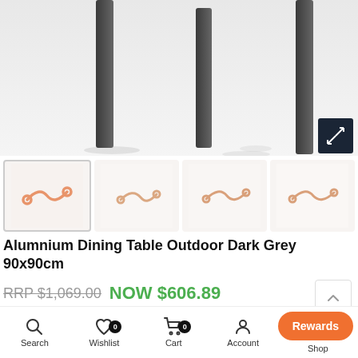[Figure (photo): Close-up of aluminium dining table legs in dark grey, shown from below against a light grey/white background. Three or four tapered dark grey metal legs visible.]
[Figure (photo): Four product thumbnail images of the aluminium outdoor dining table, showing different angles, all with infinity-loop placeholder icons in orange/peach tone on light backgrounds.]
Alumnium Dining Table Outdoor Dark Grey 90x90cm
RRP $1,069.00  NOW $606.89
5 fortnightly payments of $121.37 with humm more info
Search  Wishlist 0  Cart 0  Account  Shop  Rewards